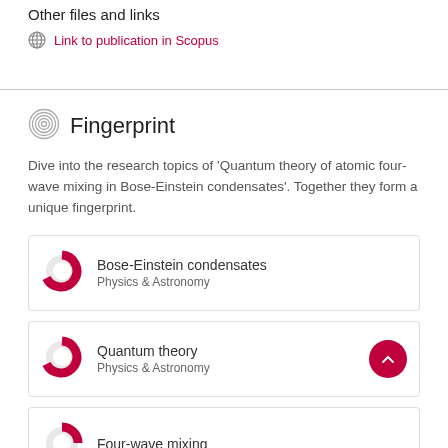Other files and links
Link to publication in Scopus
Fingerprint
Dive into the research topics of 'Quantum theory of atomic four-wave mixing in Bose-Einstein condensates'. Together they form a unique fingerprint.
Bose-Einstein condensates
Physics & Astronomy
Quantum theory
Physics & Astronomy
Four-wave mixing